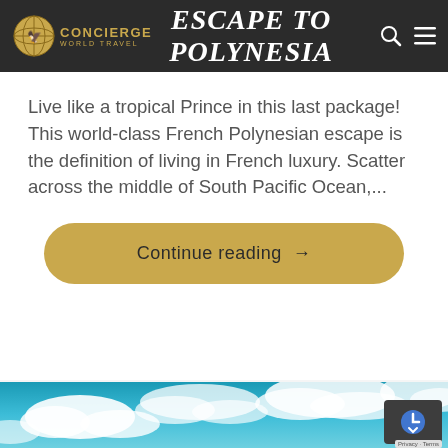Escape to Polynesia — Concierge World Travel
Live like a tropical Prince in this last package! This world-class French Polynesian escape is the definition of living in French luxury. Scatter across the middle of South Pacific Ocean,...
Continue reading →
[Figure (photo): Aerial view of blue sky with white clouds, partial view from above the clouds]